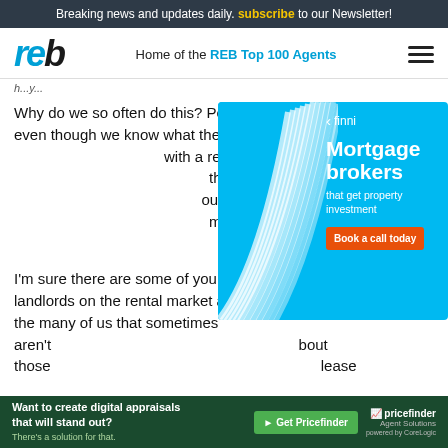Breaking news and updates daily. subscribe to our Newsletter!
Home of the REB Top 100 Agents
Why do we so often do this? Perhaps because subconsciously even though we know what the market... comp... with a realistic... the hard d... our prope... month... fault too. Fe...
[Figure (infographic): Finni mortgage brokers advertisement: blue background with white swirl graphic, text 'Mortgage brokers that get property investment', orange 'Book a call today' button]
I'm sure there are some of you out there correctly educating landlords on the rental market at the time of re-leasing but for the many of us that sometimes aren't... bout those... lease... about
[Figure (infographic): Pricefinder Agent Solutions advertisement: dark green background, text 'Want to create digital appraisals that will stand out? There's a solution for that.', green 'Get Pricefinder' button, Pricefinder logo]